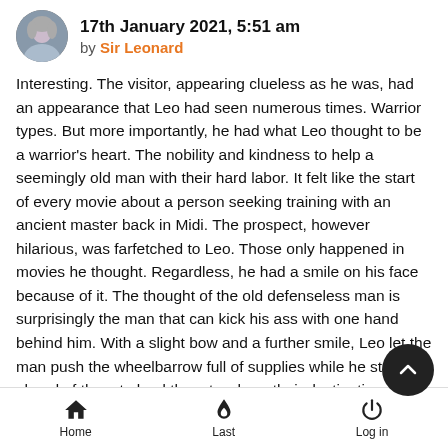17th January 2021, 5:51 am by Sir Leonard
Interesting. The visitor, appearing clueless as he was, had an appearance that Leo had seen numerous times. Warrior types. But more importantly, he had what Leo thought to be a warrior's heart. The nobility and kindness to help a seemingly old man with their hard labor. It felt like the start of every movie about a person seeking training with an ancient master back in Midi. The prospect, however hilarious, was farfetched to Leo. Those only happened in movies he thought. Regardless, he had a smile on his face because of it. The thought of the old defenseless man is surprisingly the man that can kick his ass with one hand behind him. With a slight bow and a further smile, Leo let the man push the wheelbarrow full of supplies while he stayed ahead of them to lead them to where their destination was going to be. On their way to the construction site, Leo asked the man gently and politely "So, what brings you here, traveler? Hopefully not glory,
Home | Last | Log in